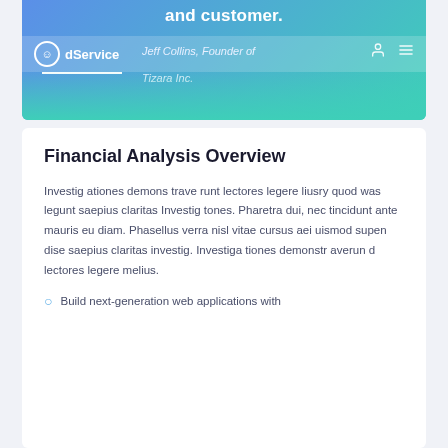[Figure (screenshot): Website header banner with gradient from blue to teal, containing partial text 'and customer.' at top, dService logo navigation bar, and italic quote 'Jeff Collins, Founder of Tizara Inc.' overlaid on the gradient background]
Financial Analysis Overview
Investig ationes demons trave runt lectores legere liusry quod was legunt saepius claritas Investig tones. Pharetra dui, nec tincidunt ante mauris eu diam. Phasellus verra nisl vitae cursus aei uismod supen dise saepius claritas investig. Investiga tiones demonstr averun d lectores legere melius.
Build next-generation web applications with